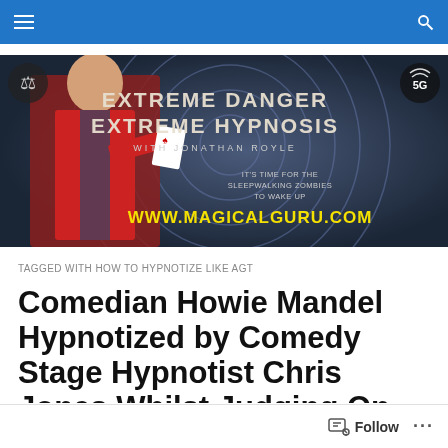Navigation bar with hamburger menu and search icon
[Figure (photo): Banner image for 'Extreme Danger Extreme Hypnosis with Jonathan Royle' podcast/website. Shows a man in a red jacket holding a playing card, with circular target graphic in background, London skyline, scales of justice icon, 5G icon, text 'IT'S TIME FOR THE SLEEPWALKING ZOMBIES TO WAKE UP' and 'WWW.MAGICALGURU.COM' in yellow.]
TAGGED WITH HOW TO HYPNOTIZE LIKE AGT
Comedian Howie Mandel Hypnotized by Comedy Stage Hypnotist Chris Jones Whilst Judging On America's...